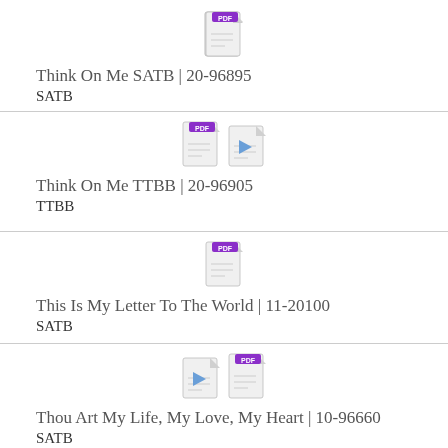Think On Me SATB | 20-96895
SATB
Think On Me TTBB | 20-96905
TTBB
This Is My Letter To The World | 11-20100
SATB
Thou Art My Life, My Love, My Heart | 10-96660
SATB